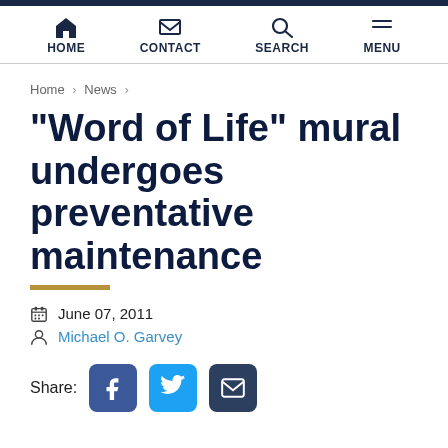HOME  CONTACT  SEARCH  MENU
Home › News ›
“Word of Life” mural undergoes preventative maintenance
June 07, 2011
Michael O. Garvey
Share: